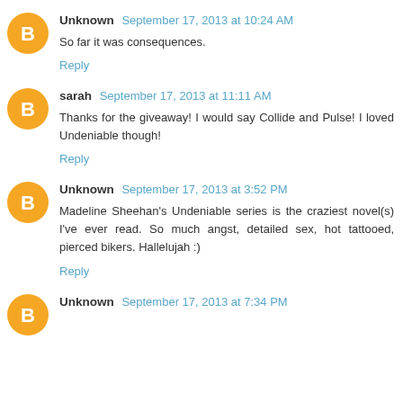Unknown September 17, 2013 at 10:24 AM
So far it was consequences.
Reply
sarah September 17, 2013 at 11:11 AM
Thanks for the giveaway! I would say Collide and Pulse! I loved Undeniable though!
Reply
Unknown September 17, 2013 at 3:52 PM
Madeline Sheehan's Undeniable series is the craziest novel(s) I've ever read. So much angst, detailed sex, hot tattooed, pierced bikers. Hallelujah :)
Reply
Unknown September 17, 2013 at 7:34 PM